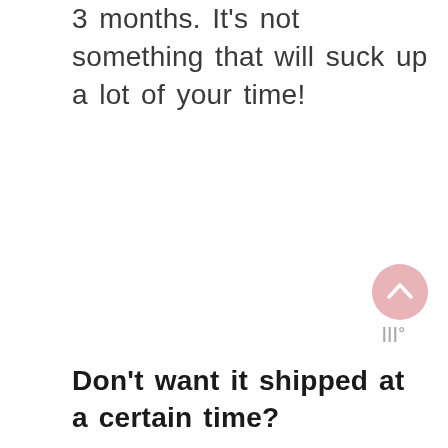3 months. It's not something that will suck up a lot of your time!
[Figure (illustration): Pink circular scroll-to-top button with upward chevron arrow icon]
[Figure (illustration): Small grey weather/temperature icon with degree symbol]
Don't want it shipped at a certain time?